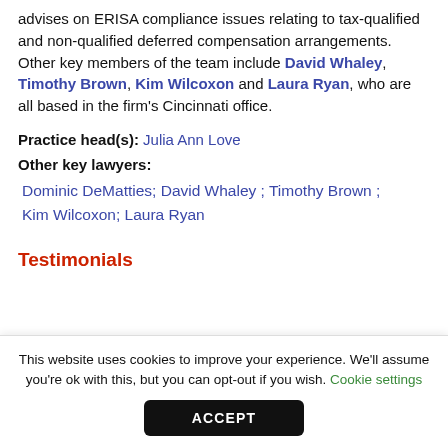Dominic DeMatties advises on ERISA compliance issues relating to tax-qualified and non-qualified deferred compensation arrangements. Other key members of the team include David Whaley, Timothy Brown, Kim Wilcoxon and Laura Ryan, who are all based in the firm's Cincinnati office.
Practice head(s): Julia Ann Love
Other key lawyers:
Dominic DeMatties; David Whaley ; Timothy Brown ; Kim Wilcoxon; Laura Ryan
Testimonials
This website uses cookies to improve your experience. We'll assume you're ok with this, but you can opt-out if you wish. Cookie settings ACCEPT